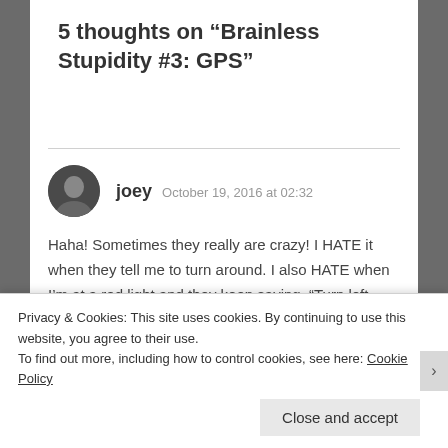5 thoughts on “Brainless Stupidity #3: GPS”
joey   October 19, 2016 at 02:32
Haha! Sometimes they really are crazy! I HATE it when they tell me to turn around. I also HATE when I’m at a red light and they keep saying, “Turn left, turn left, turn left, turn left!” And they seem to get upset if someone needs a drink, or fuel, or a
Privacy & Cookies: This site uses cookies. By continuing to use this website, you agree to their use.
To find out more, including how to control cookies, see here: Cookie Policy
Close and accept